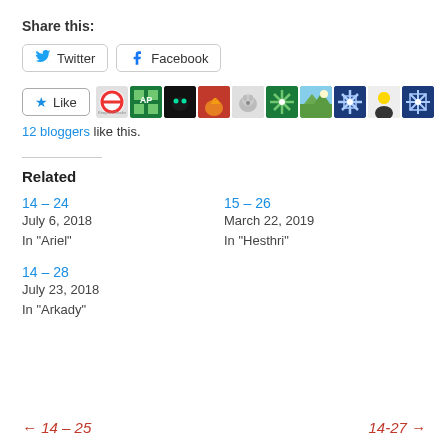Share this:
Twitter
Facebook
Like
12 bloggers like this.
Related
14 – 24
July 6, 2018
In "Ariel"
15 – 26
March 22, 2019
In "Hesthri"
14 – 28
July 23, 2018
In "Arkady"
← 14 – 25    14-27 →